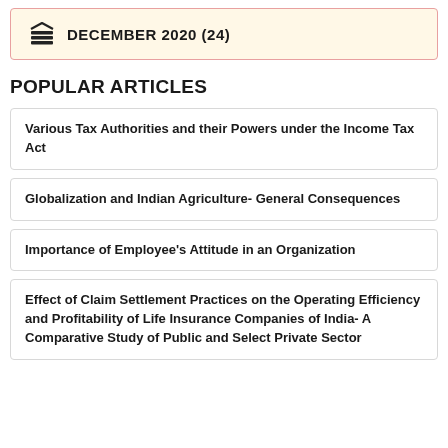DECEMBER 2020 (24)
POPULAR ARTICLES
Various Tax Authorities and their Powers under the Income Tax Act
Globalization and Indian Agriculture- General Consequences
Importance of Employee's Attitude in an Organization
Effect of Claim Settlement Practices on the Operating Efficiency and Profitability of Life Insurance Companies of India- A Comparative Study of Public and Select Private Sector